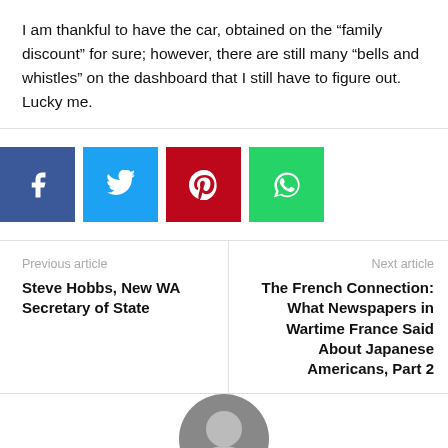I am thankful to have the car, obtained on the “family discount” for sure; however, there are still many “bells and whistles” on the dashboard that I still have to figure out. Lucky me.
[Figure (infographic): Four social sharing buttons: Facebook (dark blue), Twitter (light blue), Pinterest (red), WhatsApp (green)]
Previous article
Steve Hobbs, New WA Secretary of State
Next article
The French Connection: What Newspapers in Wartime France Said About Japanese Americans, Part 2
[Figure (photo): Partial photo of a person, cropped at bottom of page]